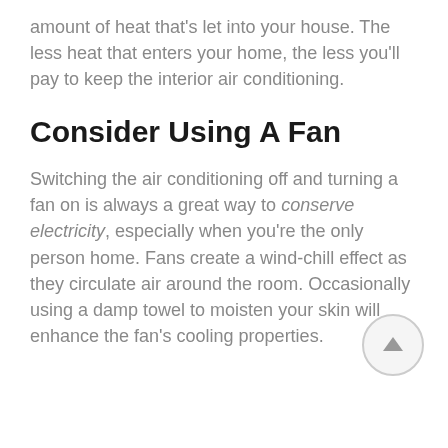amount of heat that's let into your house. The less heat that enters your home, the less you'll pay to keep the interior air conditioning.
Consider Using A Fan
Switching the air conditioning off and turning a fan on is always a great way to conserve electricity, especially when you're the only person home. Fans create a wind-chill effect as they circulate air around the room. Occasionally using a damp towel to moisten your skin will enhance the fan's cooling properties.